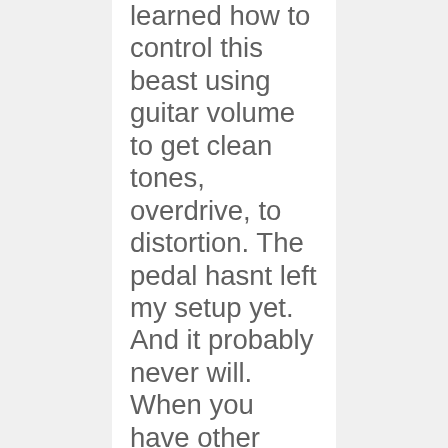learned how to control this beast using guitar volume to get clean tones, overdrive, to distortion. The pedal hasnt left my setup yet. And it probably never will. When you have other guitarists, coming up after a show asking “how were you getting that tone??” And trying to copy your amp settings, You’re doing something right. Well, it